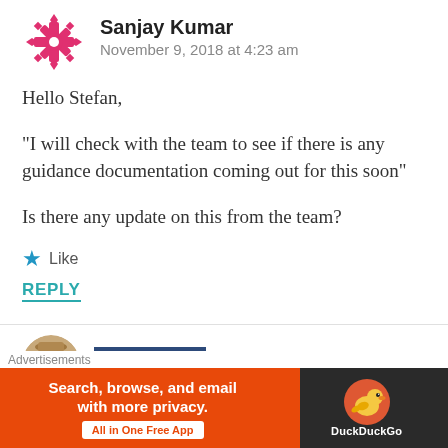Sanjay Kumar
November 9, 2018 at 4:23 am
Hello Stefan,
“I will check with the team to see if there is any guidance documentation coming out for this soon”
Is there any update on this from the team?
★ Like
REPLY
stefanwick
Advertisements
[Figure (infographic): DuckDuckGo advertisement banner: orange and dark background with text 'Search, browse, and email with more privacy. All in One Free App' and DuckDuckGo logo on the right.]